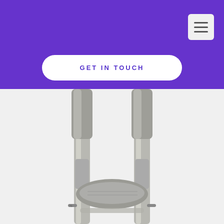[Figure (logo): RekrutBot.AI logo with circular swirl graphic in cyan and pink, followed by bold text REKRUTBOT in black and AI in blue]
[Figure (other): Hamburger menu button icon with three horizontal lines on light gray rounded square background]
GET IN TOUCH
[Figure (photo): Close-up photograph of underarm crutches (axillary crutches) showing the padded armpit rest and handgrip, metal frame in gray/silver color, on white background]